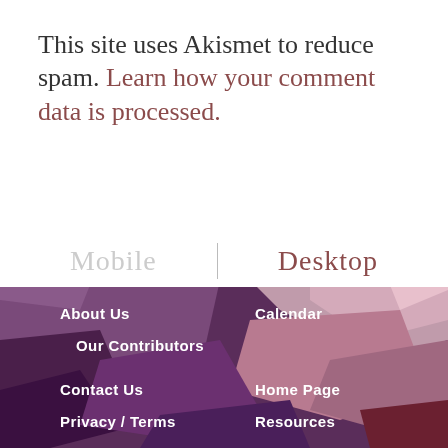This site uses Akismet to reduce spam. Learn how your comment data is processed.
Mobile | Desktop
[Figure (illustration): Geometric polygon mosaic background in shades of purple, mauve, and muted pink forming the footer area.]
About Us
Calendar
Our Contributors
Contact Us
Home Page
Privacy / Terms
Resources